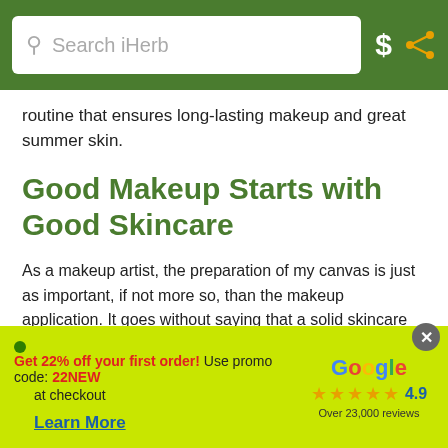Search iHerb
routine that ensures long-lasting makeup and great summer skin.
Good Makeup Starts with Good Skincare
As a makeup artist, the preparation of my canvas is just as important, if not more so, than the makeup application. It goes without saying that a solid skincare routine is important during every season, but it is crucial during the summer once heat, humidity, stronger sun, and sweat enter the equation.
During the winter, we tend to use very emollient moisturizers and gentle cleansers to counter the effects of the cold climate and
Get 22% off your first order! Use promo code: 22NEW at checkout
Learn More
[Figure (logo): Google logo with 4.9 star rating and Over 23,000 reviews]